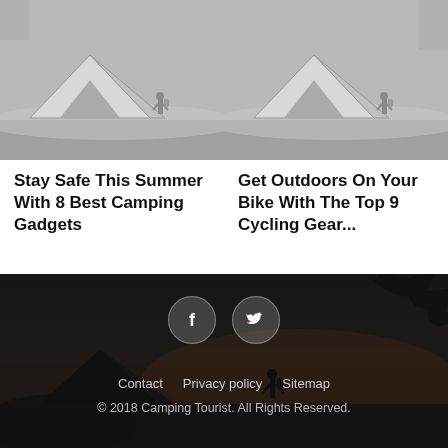[Figure (photo): Grayscale photo of a tent with a person silhouette in an outdoor camping scene]
Stay Safe This Summer With 8 Best Camping Gadgets
[Figure (photo): Grayscale photo of a tent with a person silhouette in an outdoor camping scene]
Get Outdoors On Your Bike With The Top 9 Cycling Gear...
[Figure (photo): Dark night scene with tent silhouette and person against a dusk sky, used as footer background]
Contact   Privacy policy   Sitemap
© 2018 Camping Tourist. All Rights Reserved.